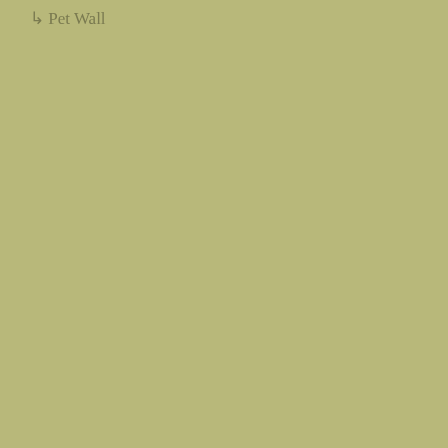↳ Pet Wall
July 2016
June 2016
May 2016
April 2016
March 2016
February 2016
January 2016
December 2015
November 2015
October 2015
September 2015
August 2015
July 2015
June 2015
May 2015
April 2015
March 2015
February 2015